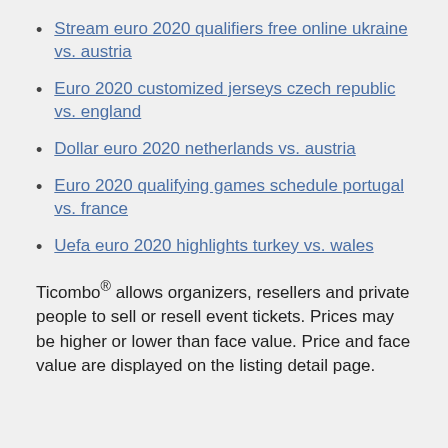Stream euro 2020 qualifiers free online ukraine vs. austria
Euro 2020 customized jerseys czech republic vs. england
Dollar euro 2020 netherlands vs. austria
Euro 2020 qualifying games schedule portugal vs. france
Uefa euro 2020 highlights turkey vs. wales
Ticombo® allows organizers, resellers and private people to sell or resell event tickets. Prices may be higher or lower than face value. Price and face value are displayed on the listing detail page.